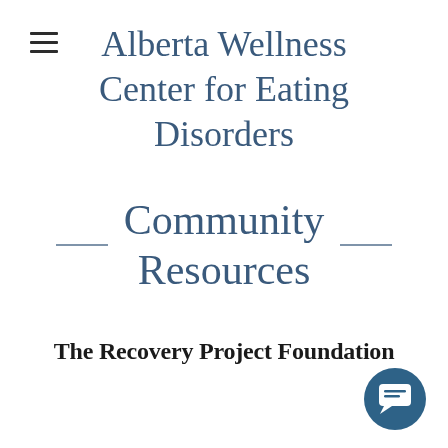Alberta Wellness Center for Eating Disorders
Community Resources
The Recovery Project Foundation
[Figure (illustration): Dark teal circular chat bubble icon button in bottom right corner]